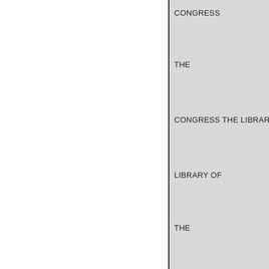CONGRESS
THE
CONGRESS THE LIBRARY
LIBRARY OF
THE
THE
SS THE LIBRARY
or
RY
TA
CSS THE LIBRARY OF CON
RY